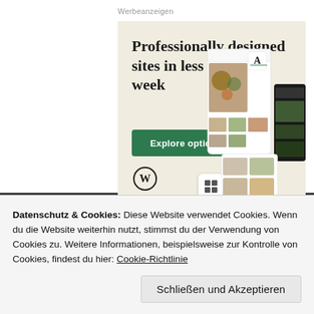Werbeanzeigen
[Figure (screenshot): WordPress.com advertisement showing 'Professionally designed sites in less than a week' with a green 'Explore options' button, WordPress logo, and website mockup screenshots on a beige background.]
Datenschutz & Cookies: Diese Website verwendet Cookies. Wenn du die Website weiterhin nutzt, stimmst du der Verwendung von Cookies zu. Weitere Informationen, beispielsweise zur Kontrolle von Cookies, findest du hier: Cookie-Richtlinie
Schließen und Akzeptieren